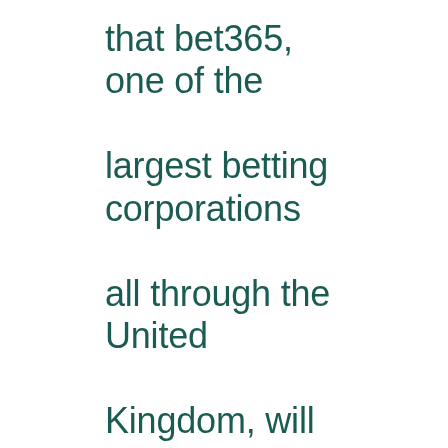that bet365, one of the largest betting corporations all through the United Kingdom, will 'accept bets from purchasers in every state of India'. We kindly ask